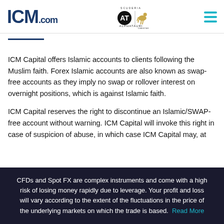ICM.com | AlphaTauri | Chestertons Polo
ICM Capital offers Islamic accounts to clients following the Muslim faith. Forex Islamic accounts are also known as swap-free accounts as they imply no swap or rollover interest on overnight positions, which is against Islamic faith.
ICM Capital reserves the right to discontinue an Islamic/SWAP-free account without warning. ICM Capital will invoke this right in case of suspicion of abuse, in which case ICM Capital may, at
CFDs and Spot FX are complex instruments and come with a high risk of losing money rapidly due to leverage. Your profit and loss will vary according to the extent of the fluctuations in the price of the underlying markets on which the trade is based. Read More